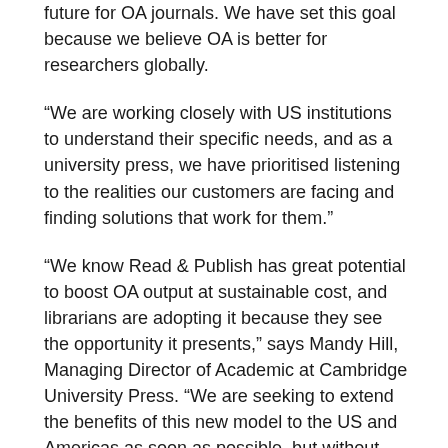future for OA journals. We have set this goal because we believe OA is better for researchers globally.
“We are working closely with US institutions to understand their specific needs, and as a university press, we have prioritised listening to the realities our customers are facing and finding solutions that work for them.”
“We know Read & Publish has great potential to boost OA output at sustainable cost, and librarians are adopting it because they see the opportunity it presents,” says Mandy Hill, Managing Director of Academic at Cambridge University Press. “We are seeking to extend the benefits of this new model to the US and Americas as soon as possible, but without active partnerships between institutions, publishers, and funders we will not make progress.
“Navigating Open Access can seem daunting, but it doesn’t need to be and our model shows what is possible.”